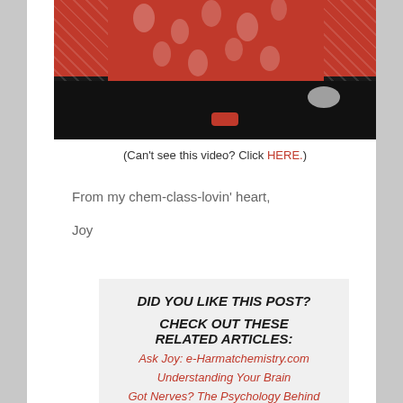[Figure (photo): Partially visible photo showing people wearing red floral Hawaiian dresses with white floral pattern, dark background at bottom]
(Can't see this video? Click HERE.)
From my chem-class-lovin' heart,
Joy
DID YOU LIKE THIS POST?
CHECK OUT THESE RELATED ARTICLES:
Ask Joy: e-Harmatchemistry.com
Understanding Your Brain
Got Nerves? The Psychology Behind Those